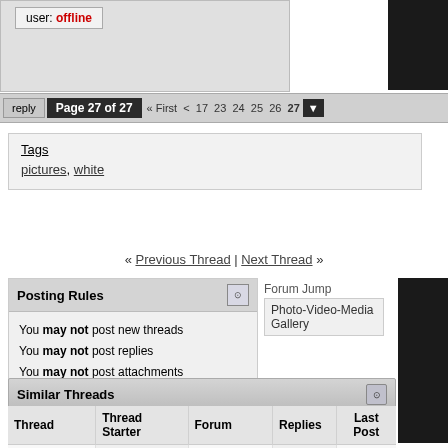[Figure (screenshot): User status box showing 'user: offline' label in top-left area]
reply  Page 27 of 27  « First  <  17  23  24  25  26  27  ▼
Tags
pictures, white
« Previous Thread | Next Thread »
Posting Rules
You may not post new threads
You may not post replies
You may not post attachments
You may not edit your posts
BB code is On
Smilies are On
[IMG] code is On
HTML code is Off
Forum Rules
Forum Jump
Photo-Video-Media Gallery
Similar Threads
| Thread | Thread Starter | Forum | Replies | Last Post |
| --- | --- | --- | --- | --- |
| News : 2007 |  |  |  |  |